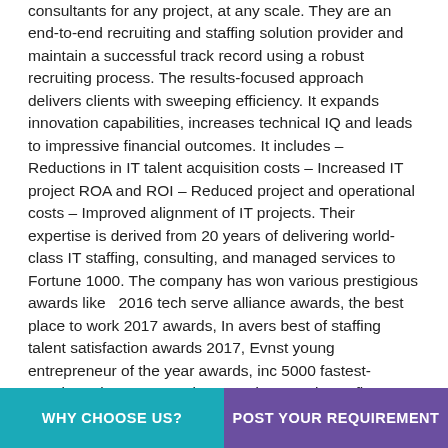consultants for any project, at any scale. They are an end-to-end recruiting and staffing solution provider and maintain a successful track record using a robust recruiting process. The results-focused approach delivers clients with sweeping efficiency. It expands innovation capabilities, increases technical IQ and leads to impressive financial outcomes. It includes – Reductions in IT talent acquisition costs – Increased IT project ROA and ROI – Reduced project and operational costs – Improved alignment of IT projects. Their expertise is derived from 20 years of delivering world-class IT staffing, consulting, and managed services to Fortune 1000. The company has won various prestigious awards like  2016 tech serve alliance awards, the best place to work 2017 awards, In avers best of staffing talent satisfaction awards 2017, Evnst young entrepreneur of the year awards, inc 5000 fastest-growing private companies awards, a Business first company of the year awards and many more.
WHY CHOOSE US?   POST YOUR REQUIREMENT